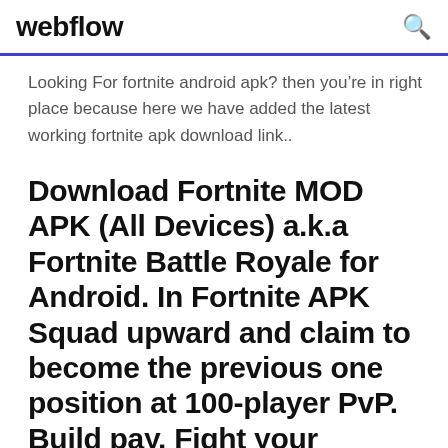webflow
Looking For fortnite android apk? then you’re in right place because here we have added the latest working fortnite apk download link..
Download Fortnite MOD APK (All Devices) a.k.a Fortnite Battle Royale for Android. In Fortnite APK Squad upward and claim to become the previous one position at 100-player PvP. Build pay. Fight your competitors.
28 Aug 2019 Download Fortnite Battle Royale